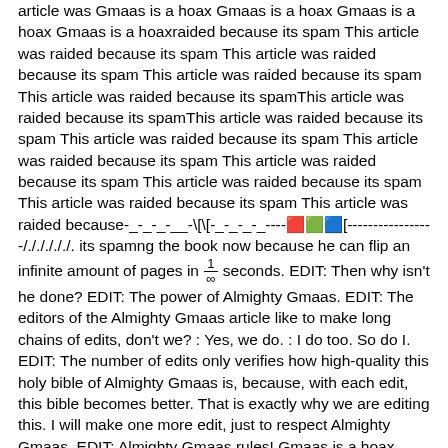article was Gmaas is a hoax Gmaas is a hoax Gmaas is a hoax Gmaas is a hoaxraided because its spam This article was raided because its spam This article was raided because its spam This article was raided because its spam This article was raided because its spamThis article was raided because its spamThis article was raided because its spam This article was raided because its spam This article was raided because its spam This article was raided because its spam This article was raided because its spam This article was raided because its spam This article was raided because its spam This article was raided because-_-_-_-__-\[\[-_-_-_-_----🟥🟩🟦[-----------------/./././././. its spamng the book now because he can flip an infinite amount of pages in 1/∞ seconds. EDIT: Then why isn't he done? EDIT: The power of Almighty Gmaas. EDIT: The editors of the Almighty Gmaas article like to make long chains of edits, don't we? : Yes, we do. : I do too. So do I. EDIT: The number of edits only verifies how high-quality this holy bible of Almighty Gmaas is, because, with each edit, this bible becomes better. That is exactly why we are editing this. I will make one more edit, just to respect Almighty Gmaas. EDIT: Almighty Gmaas rules! Gmaas is a hoax Gmaas is a hoax Gmaas is a hoax Gmaas is